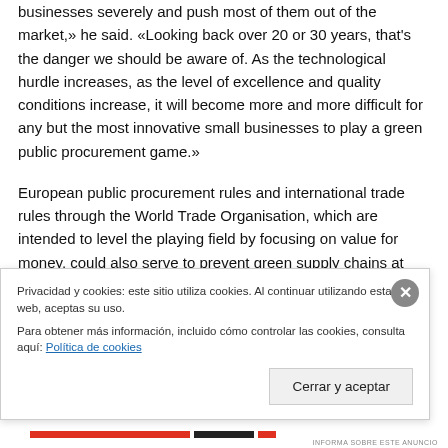businesses severely and push most of them out of the market,» he said. «Looking back over 20 or 30 years, that's the danger we should be aware of. As the technological hurdle increases, as the level of excellence and quality conditions increase, it will become more and more difficult for any but the most innovative small businesses to play a green public procurement game.»
European public procurement rules and international trade rules through the World Trade Organisation, which are intended to level the playing field by focusing on value for money, could also serve to prevent green supply chains at
Privacidad y cookies: este sitio utiliza cookies. Al continuar utilizando esta web, aceptas su uso.
Para obtener más información, incluido cómo controlar las cookies, consulta aquí: Política de cookies
Cerrar y aceptar
INFORMA SOBRE ESTE ANUNCIO